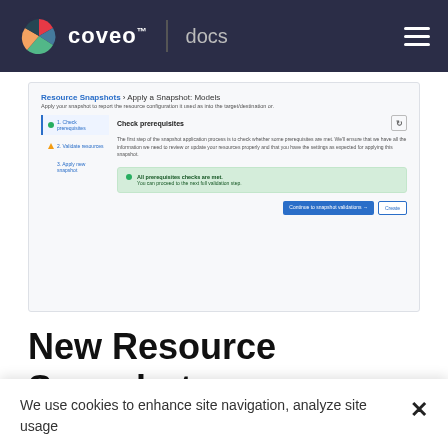coveo™ | docs
[Figure (screenshot): Screenshot of Coveo admin UI showing 'Resource Snapshots > Apply a Snapshot: Models' page with Check prerequisites step active, showing a green success box 'All prerequisites checks are met. You can proceed to the next full validation step.' with Continue to snapshot validations and Create buttons.]
New Resource Snapshot Application Interface
The resource snapshot application interface has been entirely redesigned to provide a more intuitive and
We use cookies to enhance site navigation, analyze site usage